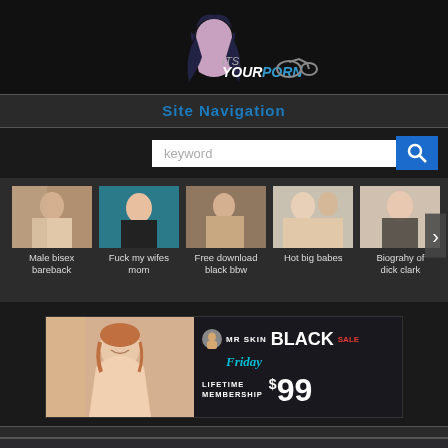[Figure (logo): Website logo with anime-style character and site name text]
Site Navigation
[Figure (screenshot): Search bar with keyword placeholder and search icon]
[Figure (photo): Row of 5 video thumbnails with labels: Male bisex bareback, Fuck my wifes mom, Free download black bbw, Hot big babes, Biograhy of dick clark]
[Figure (infographic): Mr Skin Black Friday Sale advertisement banner - Lifetime Membership $99]
Big ass maid porn